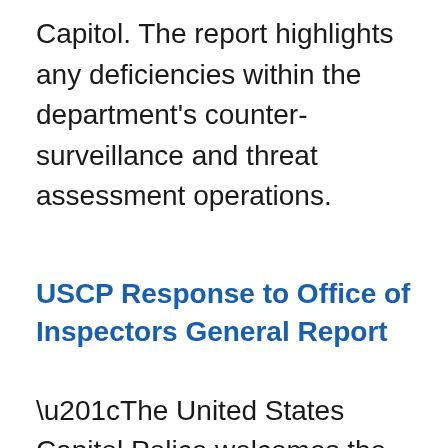Capitol. The report highlights any deficiencies within the department's counter-surveillance and threat assessment operations.
USCP Response to Office of Inspectors General Report
“The United States Capitol Police welcomes the USCP Office of Inspector General’s (OIG) review and its recommendations. The Department understands and supports the evaluation of the events of January 6 and implementing